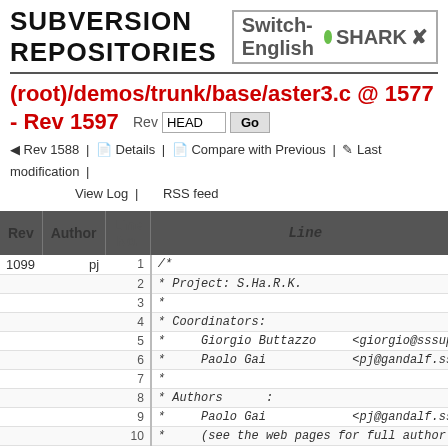SUBVERSION REPOSITORIES   Switch-English • SHARK
(root)/demos/trunk/base/aster3.c @ 1577 - Rev 1597
Rev 1588 | Details | Compare with Previous | Last modification | View Log | RSS feed
| Rev | Author | Line No. | Line |
| --- | --- | --- | --- |
| 1099 | pj | 1 | /* |
|  |  | 2 | * Project: S.Ha.R.K. |
|  |  | 3 | * |
|  |  | 4 | * Coordinators: |
|  |  | 5 | *     Giorgio Buttazzo    <giorgio@sssup |
|  |  | 6 | *     Paolo Gai            <pj@gandalf.ss |
|  |  | 7 | * |
|  |  | 8 | * Authors    : |
|  |  | 9 | *     Paolo Gai            <pj@gandalf.ss |
|  |  | 10 | *     (see the web pages for full author |